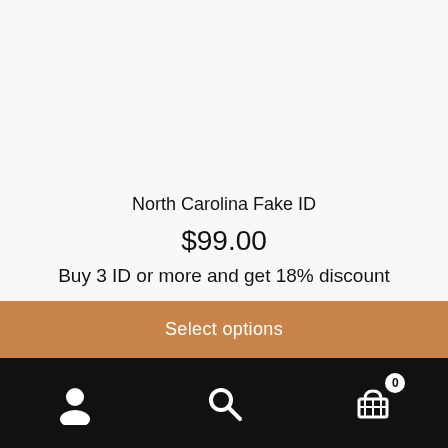North Carolina Fake ID
$99.00
Buy 3 ID or more and get 18% discount
Select options
[user icon] [search icon] [cart icon with badge 0]